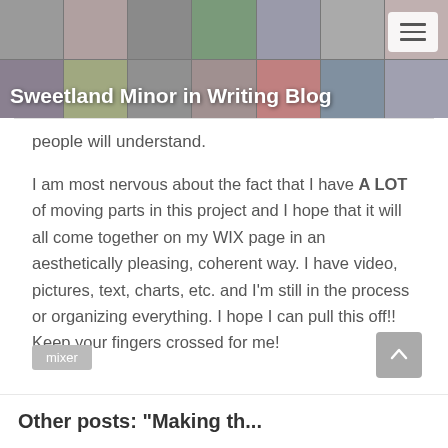Sweetland Minor in Writing Blog
people will understand.
I am most nervous about the fact that I have A LOT of moving parts in this project and I hope that it will all come together on my WIX page in an aesthetically pleasing, coherent way. I have video, pictures, text, charts, etc. and I'm still in the process or organizing everything. I hope I can pull this off!! Keep your fingers crossed for me!
mixer
Other posts: "Making the